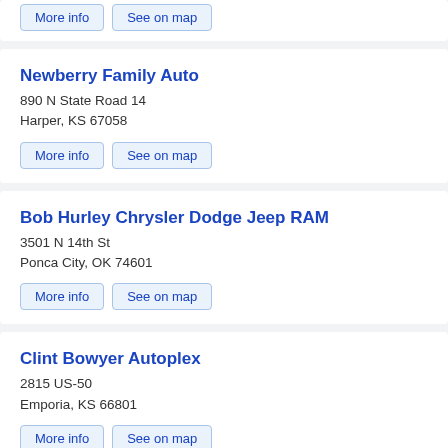More info | See on map (top partial card buttons)
Newberry Family Auto
890 N State Road 14
Harper, KS 67058
More info | See on map
Bob Hurley Chrysler Dodge Jeep RAM
3501 N 14th St
Ponca City, OK 74601
More info | See on map
Clint Bowyer Autoplex
2815 US-50
Emporia, KS 66801
More info | See on map
Bolton Chrysler Dodge RAM J...